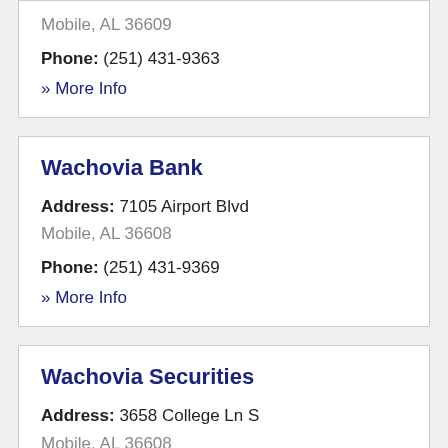Mobile, AL 36609
Phone: (251) 431-9363
» More Info
Wachovia Bank
Address: 7105 Airport Blvd
Mobile, AL 36608
Phone: (251) 431-9369
» More Info
Wachovia Securities
Address: 3658 College Ln S
Mobile, AL 36608
Phone: (251) 345-1142